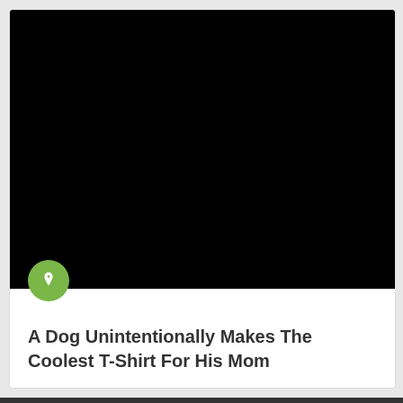[Figure (photo): Large black image area (appears to be a photo rendered black), with a green circular pin/bookmark badge overlapping the bottom edge of the image]
A Dog Unintentionally Makes The Coolest T-Shirt For His Mom